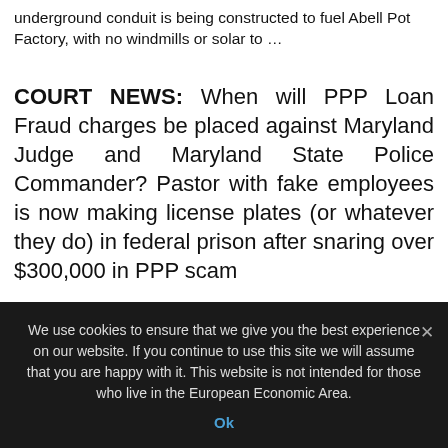underground conduit is being constructed to fuel Abell Pot Factory, with no windmills or solar to …
COURT NEWS: When will PPP Loan Fraud charges be placed against Maryland Judge and Maryland State Police Commander? Pastor with fake employees is now making license plates (or whatever they do) in federal prison after snaring over $300,000 in PPP scam
[Figure (screenshot): The Chesapeake Today newspaper screenshot showing PPP SHENANIGANS banner with subtitle 'Pandemic crisis created flood of cash to tempt con-men like Pastor and Whites', with partial photos below]
We use cookies to ensure that we give you the best experience on our website. If you continue to use this site we will assume that you are happy with it. This website is not intended for those who live in the European Economic Area.
Ok